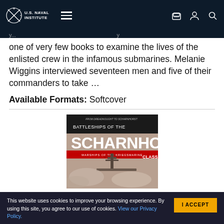U.S. Naval Institute
one of very few books to examine the lives of the enlisted crew in the infamous submarines. Melanie Wiggins interviewed seventeen men and five of their commanders to take …
Available Formats: Softcover
[Figure (photo): Book cover: Battleships of the Scharnhorst Class, showing a battleship superstructure against a cloudy sky]
This website uses cookies to improve your browsing experience. By using this site, you agree to our use of cookies. View our Privacy Policy.